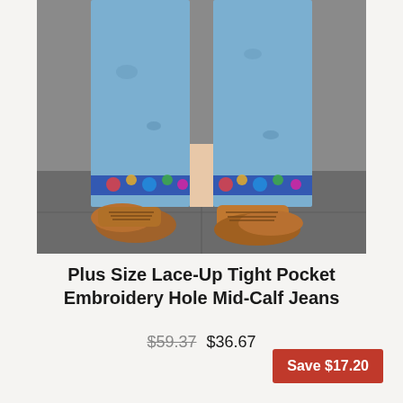[Figure (photo): Close-up photo of a person's legs wearing distressed mid-calf blue jeans with colorful embroidery at the hem, and brown lace-up oxford shoes, standing on a gray tiled floor.]
Plus Size Lace-Up Tight Pocket Embroidery Hole Mid-Calf Jeans
$59.37  $36.67
Save $17.20